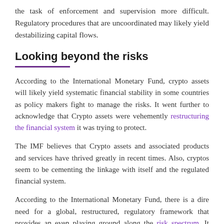the task of enforcement and supervision more difficult. Regulatory procedures that are uncoordinated may likely yield destabilizing capital flows.
Looking beyond the risks
According to the International Monetary Fund, crypto assets will likely yield systematic financial stability in some countries as policy makers fight to manage the risks. It went further to acknowledge that Crypto assets were vehemently restructuring the financial system it was trying to protect.
The IMF believes that Crypto assets and associated products and services have thrived greatly in recent times. Also, cryptos seem to be cementing the linkage with itself and the regulated financial system.
According to the International Monetary Fund, there is a dire need for a global, restructured, regulatory framework that provides an even playing ground along the risk spectrum. It went further to say that crypto